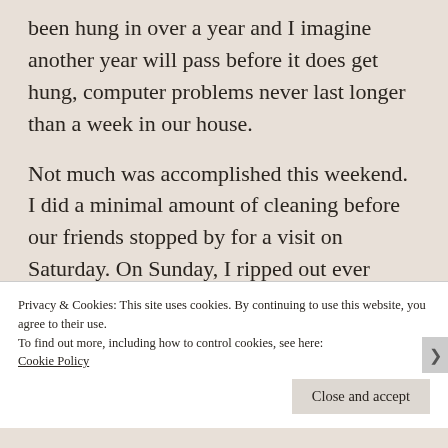been hung in over a year and I imagine another year will pass before it does get hung, computer problems never last longer than a week in our house.
Not much was accomplished this weekend. I did a minimal amount of cleaning before our friends stopped by for a visit on Saturday. On Sunday, I ripped out ever more grass in our yard and laid ever more mulch. I would have thought by now that I would have used all the
Privacy & Cookies: This site uses cookies. By continuing to use this website, you agree to their use.
To find out more, including how to control cookies, see here:
Cookie Policy
Close and accept